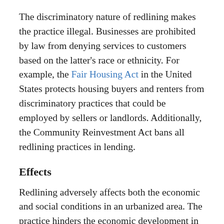The discriminatory nature of redlining makes the practice illegal. Businesses are prohibited by law from denying services to customers based on the latter's race or ethnicity. For example, the Fair Housing Act in the United States protects housing buyers and renters from discriminatory practices that could be employed by sellers or landlords. Additionally, the Community Reinvestment Act bans all redlining practices in lending.
Effects
Redlining adversely affects both the economic and social conditions in an urbanized area. The practice hinders the economic development in neighborhoods populated by ethnic minorities since it paralyzes the housing market in the affected areas and limits the inflow of investments. As a result, the redlined areas become underdeveloped while their residents...